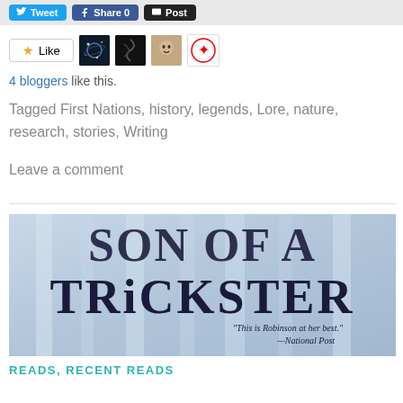[Figure (screenshot): Social sharing buttons: Tweet, Share 0, Post]
[Figure (screenshot): Like button with star icon and 4 blogger avatars]
4 bloggers like this.
Tagged First Nations, history, legends, Lore, nature, research, stories, Writing
Leave a comment
[Figure (photo): Book cover showing 'SON OF A TRICKSTER' with quote: "This is Robinson at her best." —National Post]
READS, RECENT READS